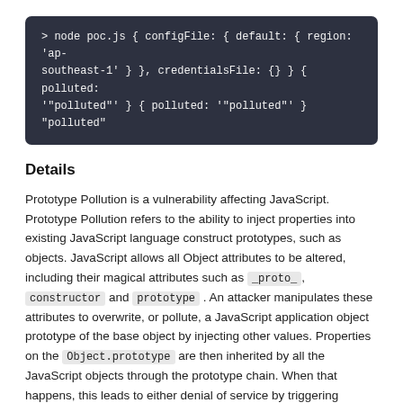[Figure (screenshot): Dark-themed code block showing terminal output: > node poc.js { configFile: { default: { region: 'ap-southeast-1' } }, credentialsFile: {} } { polluted: '"polluted"' } { polluted: '"polluted"' } "polluted"]
Details
Prototype Pollution is a vulnerability affecting JavaScript. Prototype Pollution refers to the ability to inject properties into existing JavaScript language construct prototypes, such as objects. JavaScript allows all Object attributes to be altered, including their magical attributes such as _proto_, constructor and prototype . An attacker manipulates these attributes to overwrite, or pollute, a JavaScript application object prototype of the base object by injecting other values. Properties on the Object.prototype are then inherited by all the JavaScript objects through the prototype chain. When that happens, this leads to either denial of service by triggering JavaScript exceptions, or it tampers with the application source code to force the code path that the attacker injects, thereby leading to remote code execution.
There are two main ways in which the pollution of prototypes occurs: